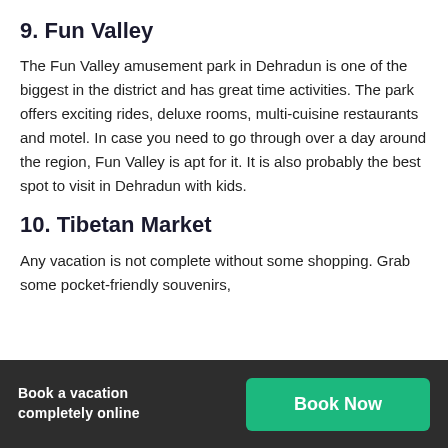9. Fun Valley
The Fun Valley amusement park in Dehradun is one of the biggest in the district and has great time activities. The park offers exciting rides, deluxe rooms, multi-cuisine restaurants and motel. In case you need to go through over a day around the region, Fun Valley is apt for it. It is also probably the best spot to visit in Dehradun with kids.
10. Tibetan Market
Any vacation is not complete without some shopping. Grab some pocket-friendly souvenirs,
Book a vacation completely online  Book Now